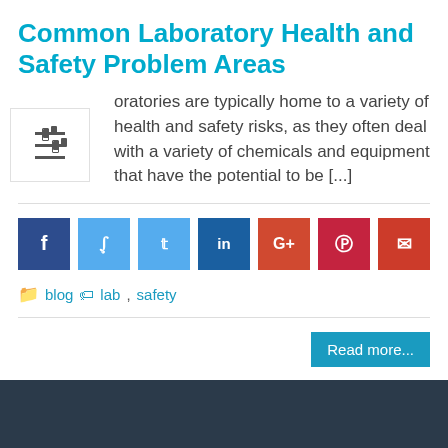Common Laboratory Health and Safety Problem Areas
Laboratories are typically home to a variety of health and safety risks, as they often deal with a variety of chemicals and equipment that have the potential to be [...]
[Figure (infographic): Social share buttons row: Facebook (dark blue), Twitter (light blue), LinkedIn (blue), Google+ (orange-red), Pinterest (red), Email (dark red)]
blog  lab, safety
Read more...
Pagination: 1 (active), 2, next arrow